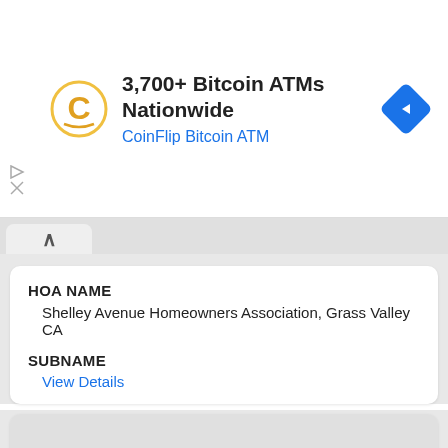[Figure (screenshot): CoinFlip Bitcoin ATM advertisement banner with logo, text '3,700+ Bitcoin ATMs Nationwide', subtitle 'CoinFlip Bitcoin ATM', and a blue diamond navigation icon]
HOA NAME
Shelley Avenue Homeowners Association, Grass Valley CA
SUBNAME
View Details
HOA NAME
Ski Trails Condo Association, Truckee CA
SUBNAME
View Details